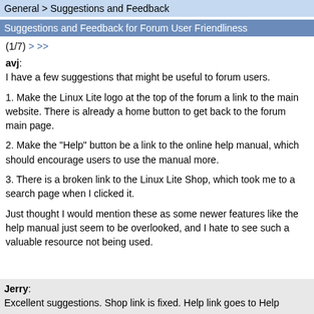General > Suggestions and Feedback
Suggestions and Feedback for Forum User Friendliness
(1/7) > >>
avj: I have a few suggestions that might be useful to forum users.
1. Make the Linux Lite logo at the top of the forum a link to the main website. There is already a home button to get back to the forum main page.
2. Make the "Help" button be a link to the online help manual, which should encourage users to use the manual more.
3. There is a broken link to the Linux Lite Shop, which took me to a search page when I clicked it.
Just thought I would mention these as some newer features like the help manual just seem to be overlooked, and I hate to see such a valuable resource not being used.
Jerry: Excellent suggestions. Shop link is fixed. Help link goes to Help...